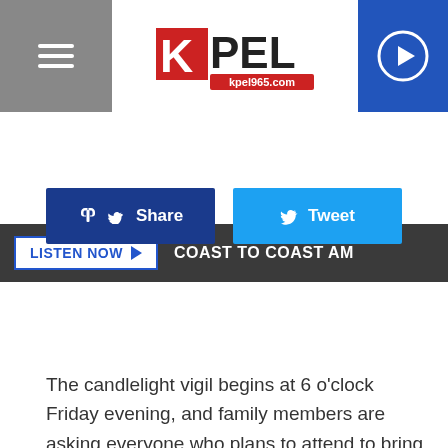[Figure (logo): KPEL 96.5 radio station logo with red K block and kpel965.com URL, navigation hamburger menu on left, play button on right, on white header bar]
[Figure (screenshot): Dark gray bar with 'LISTEN NOW' button and 'COAST TO COAST AM' text]
[Figure (screenshot): Facebook Share button (dark blue) and Twitter Tweet button (light blue) side by side]
The candlelight vigil begins at 6 o'clock Friday evening, and family members are asking everyone who plans to attend to bring a candle.